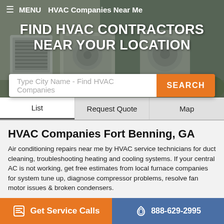[Figure (screenshot): Hero banner showing outdoor HVAC units with dark overlay background]
≡ MENU   HVAC Companies Near Me
FIND HVAC CONTRACTORS NEAR YOUR LOCATION
Type City Name - Find HVAC Companies
List   Request Quote   Map
HVAC Companies Fort Benning, GA
Air conditioning repairs near me by HVAC service technicians for duct cleaning, troubleshooting heating and cooling systems. If your central AC is not working, get free estimates from local furnace companies for system tune up, diagnose compressor problems, resolve fan motor issues & broken condensers.
Georgia - Fort Benning AC Services
📞 706-322-0537
Get Service Calls   888-629-2995